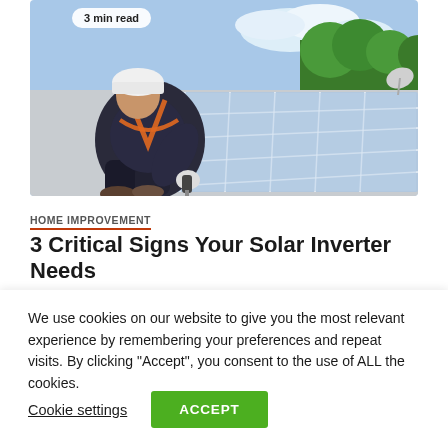[Figure (photo): A worker in safety harness and white hard hat kneeling on a roof installing or inspecting solar panels, using a power drill, with blue sky and trees in background. A '3 min read' badge overlays the top-left of the image.]
HOME IMPROVEMENT
3 Critical Signs Your Solar Inverter Needs
We use cookies on our website to give you the most relevant experience by remembering your preferences and repeat visits. By clicking “Accept”, you consent to the use of ALL the cookies.
Cookie settings
ACCEPT